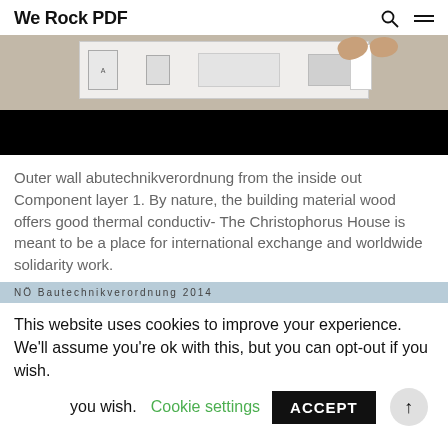We Rock PDF
[Figure (photo): A person's hands handling a white tray or flat box on a table, with the lower portion of the image blacked out.]
Outer wall abutechnikverordnung from the inside out Component layer 1. By nature, the building material wood offers good thermal conductiv- The Christophorus House is meant to be a place for international exchange and worldwide solidarity work.
NÖ Bautechnikverordnung 2014
This website uses cookies to improve your experience. We'll assume you're ok with this, but you can opt-out if you wish.
Cookie settings   ACCEPT